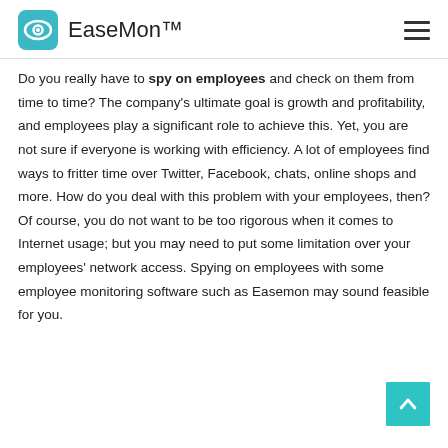EaseMon™
Do you really have to spy on employees and check on them from time to time? The company's ultimate goal is growth and profitability, and employees play a significant role to achieve this. Yet, you are not sure if everyone is working with efficiency. A lot of employees find ways to fritter time over Twitter, Facebook, chats, online shops and more. How do you deal with this problem with your employees, then? Of course, you do not want to be too rigorous when it comes to Internet usage; but you may need to put some limitation over your employees' network access. Spying on employees with some employee monitoring software such as Easemon may sound feasible for you.